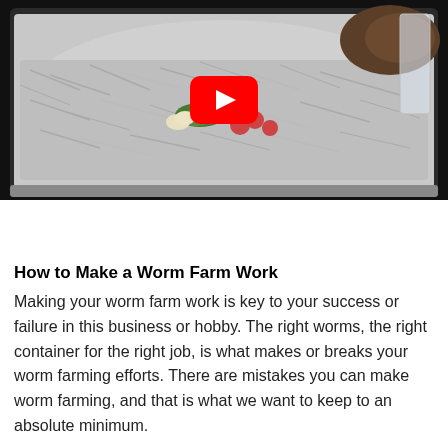[Figure (photo): A YouTube video thumbnail showing a worm farm bin filled with shredded paper bedding, some green vegetable scraps and small round food items visible inside a clear plastic container. A red YouTube play button icon is overlaid in the center.]
How to Make a Worm Farm Work
Making your worm farm work is key to your success or failure in this business or hobby. The right worms, the right container for the right job, is what makes or breaks your worm farming efforts. There are mistakes you can make worm farming, and that is what we want to keep to an absolute minimum.